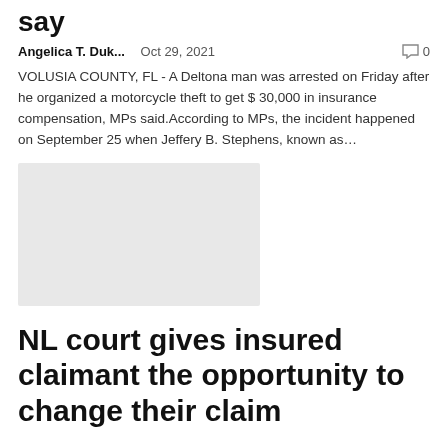say
Angelica T. Duk...    Oct 29, 2021    💬 0
VOLUSIA COUNTY, FL - A Deltona man was arrested on Friday after he organized a motorcycle theft to get $ 30,000 in insurance compensation, MPs said.According to MPs, the incident happened on September 25 when Jeffery B. Stephens, known as...
[Figure (photo): Placeholder image (light gray rectangle)]
NL court gives insured claimant the opportunity to change their claim